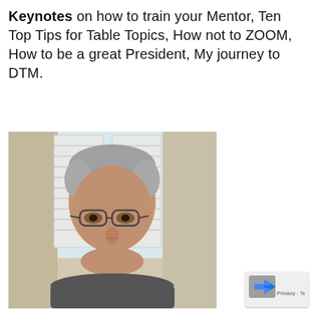Keynotes on how to train your Mentor, Ten Top Tips for Table Topics, How not to ZOOM, How to be a great President, My journey to DTM.
[Figure (photo): A photograph of an older man with grey hair and glasses, seated in front of a window with white shutters. The image is taken from a slightly elevated angle, showing his face and upper shoulders.]
[Figure (logo): reCAPTCHA logo — small grey square with a blue arrow icon, and 'Privacy · Terms' text below.]